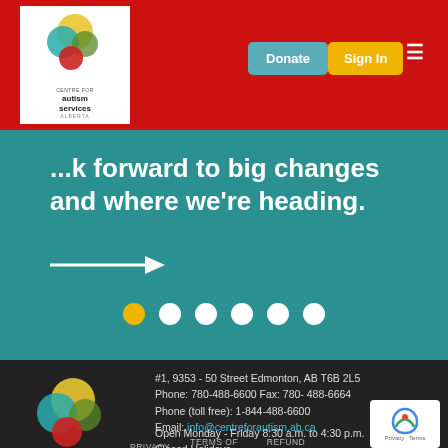[Figure (logo): Centre for Autism Services Alberta logo with coloured circles in header]
[Figure (screenshot): Donate and Sign In navigation buttons plus hamburger menu icon]
...k forward to big changes and where we're heading.
[Figure (infographic): White arrow pointing right on teal background]
[Figure (infographic): Carousel dots: 6 dots, first one yellow/active, rest white]
[Figure (logo): Centre for Autism Services Alberta logo in footer]
#1, 9353 - 50 Street Edmonton, AB T6B 2L5
Phone: 780-488-6600 Fax: 780- 488-6664
Phone (toll free): 1-844-488-6600
Email: info@centreforautism.ab.ca
Open Monday - Friday 8:30 a.m. to 4:30 p.m.
Closed Holidays
PRIVACY   TERMS OF USE   REFUND POLICY
[Figure (other): reCAPTCHA Privacy - Terms badge]